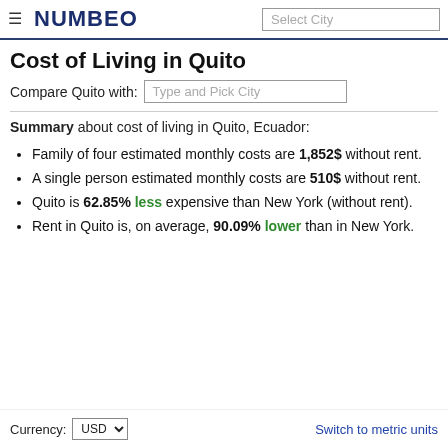NUMBEO — Select City (search box)
Cost of Living in Quito
Compare Quito with: Type and Pick City
Summary about cost of living in Quito, Ecuador:
Family of four estimated monthly costs are 1,852$ without rent.
A single person estimated monthly costs are 510$ without rent.
Quito is 62.85% less expensive than New York (without rent).
Rent in Quito is, on average, 90.09% lower than in New York.
Currency: USD  Switch to metric units